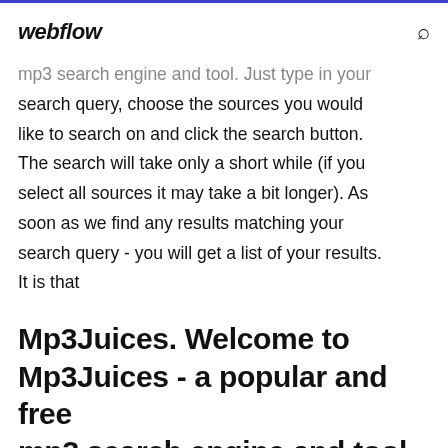webflow
mp3 search engine and tool. Just type in your search query, choose the sources you would like to search on and click the search button. The search will take only a short while (if you select all sources it may take a bit longer). As soon as we find any results matching your search query - you will get a list of your results. It is that
Mp3Juices. Welcome to Mp3Juices - a popular and free mp3 search engine and tool. Just type in your search query, choose the sources you would